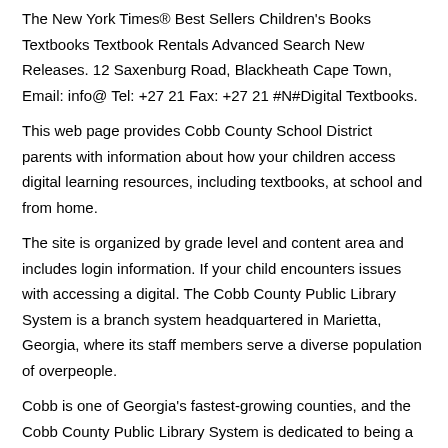The New York Times® Best Sellers Children's Books Textbooks Textbook Rentals Advanced Search New Releases. 12 Saxenburg Road, Blackheath Cape Town, Email: info@ Tel: +27 21 Fax: +27 21 #N#Digital Textbooks.
This web page provides Cobb County School District parents with information about how your children access digital learning resources, including textbooks, at school and from home.
The site is organized by grade level and content area and includes login information. If your child encounters issues with accessing a digital. The Cobb County Public Library System is a branch system headquartered in Marietta, Georgia, where its staff members serve a diverse population of overpeople.
Cobb is one of Georgia's fastest-growing counties, and the Cobb County Public Library System is dedicated to being a resource center in the community by providing equal.
The Spring Book Sale will be held March 13 – 15,  at the Cobb Civic Center from are 9 am to 5 pm Friday and Saturday and 1 pm to 5 pm